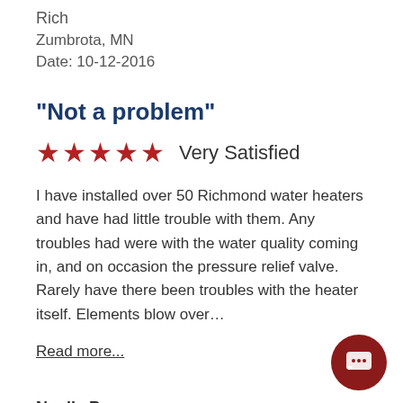Rich
Zumbrota, MN
Date: 10-12-2016
"Not a problem"
★★★★★  Very Satisfied
I have installed over 50 Richmond water heaters and have had little trouble with them. Any troubles had were with the water quality coming in, and on occasion the pressure relief valve. Rarely have there been troubles with the heater itself. Elements blow over…
Read more...
Noelle P
Southeast Wisconsin